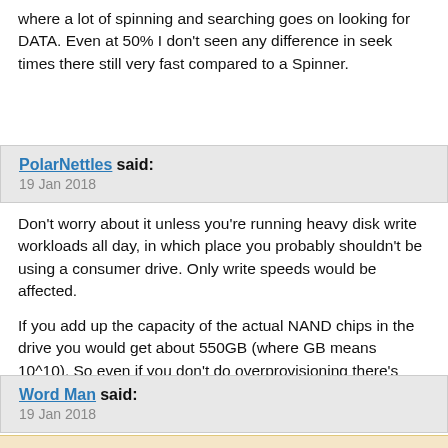where a lot of spinning and searching goes on looking for DATA. Even at 50% I don't seen any difference in seek times there still very fast compared to a Spinner.
PolarNettles said:
19 Jan 2018
Don't worry about it unless you're running heavy disk write workloads all day, in which place you probably shouldn't be using a consumer drive. Only write speeds would be affected.

If you add up the capacity of the actual NAND chips in the drive you would get about 550GB (where GB means 10^10). So even if you don't do overprovisioning there's already ~10% reserved space on the drive.
Word Man said:
19 Jan 2018